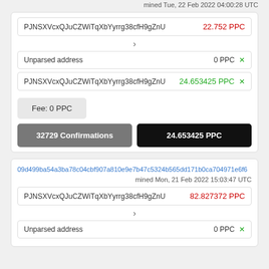mined Tue, 22 Feb 2022 04:00:28 UTC
PJNSXVcxQJuCZWiTqXbYyrrg38cfH9gZnU  22.752 PPC
>
Unparsed address  0 PPC x
PJNSXVcxQJuCZWiTqXbYyrrg38cfH9gZnU  24.653425 PPC x
Fee: 0 PPC
32729 Confirmations
24.653425 PPC
09d499ba54a3ba78c04cbf907a810e9e7b47c5324b565dd171b0ca704971e6f6
mined Mon, 21 Feb 2022 15:03:47 UTC
PJNSXVcxQJuCZWiTqXbYyrrg38cfH9gZnU  82.827372 PPC
>
Unparsed address  0 PPC x